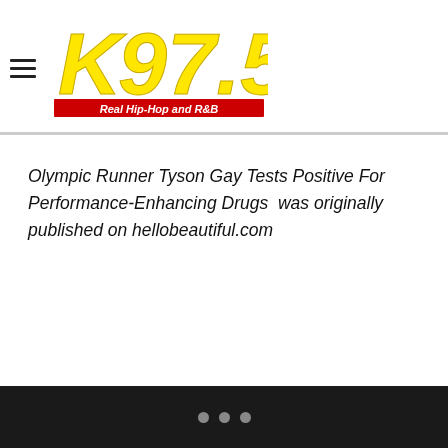[Figure (logo): K97.5 Real Hip-Hop and R&B radio station logo — yellow bold stylized text 'K97.5' with red banner underneath reading 'Real Hip-Hop and R&B']
Olympic Runner Tyson Gay Tests Positive For Performance-Enhancing Drugs  was originally published on hellobeautiful.com